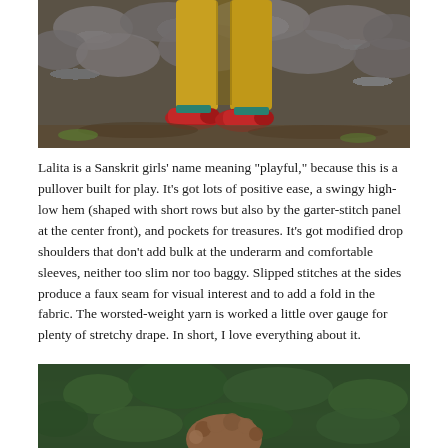[Figure (photo): Photograph showing lower body of a child wearing bright yellow/mustard trousers and red shoes, standing on rocky ground with stone wall behind.]
Lalita is a Sanskrit girls’ name meaning “playful,” because this is a pullover built for play. It’s got lots of positive ease, a swingy high-low hem (shaped with short rows but also by the garter-stitch panel at the center front), and pockets for treasures. It’s got modified drop shoulders that don’t add bulk at the underarm and comfortable sleeves, neither too slim nor too baggy. Slipped stitches at the sides produce a faux seam for visual interest and to add a fold in the fabric. The worsted-weight yarn is worked a little over gauge for plenty of stretchy drape. In short, I love everything about it.
[Figure (photo): Photograph showing a child with curly hair from the top, surrounded by green foliage.]